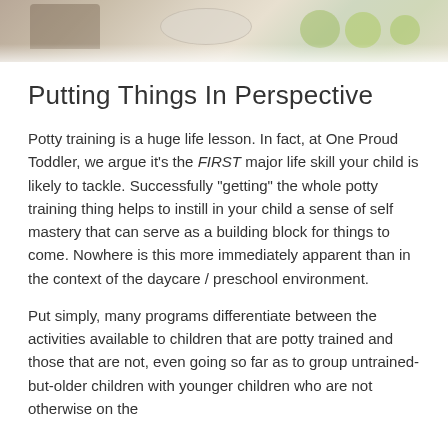[Figure (photo): Cropped photo strip at top showing tableware, bowls, and fruits (apples/grapes) on a light background]
Putting Things In Perspective
Potty training is a huge life lesson. In fact, at One Proud Toddler, we argue it's the FIRST major life skill your child is likely to tackle. Successfully "getting" the whole potty training thing helps to instill in your child a sense of self mastery that can serve as a building block for things to come. Nowhere is this more immediately apparent than in the context of the daycare / preschool environment.
Put simply, many programs differentiate between the activities available to children that are potty trained and those that are not, even going so far as to group untrained-but-older children with younger children who are not otherwise on the same developmental level. Some facilities tri will